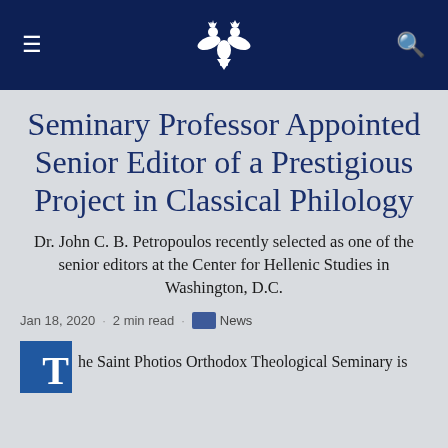Seminary Professor Appointed Senior Editor of a Prestigious Project in Classical Philology — site header with navigation
Seminary Professor Appointed Senior Editor of a Prestigious Project in Classical Philology
Dr. John C. B. Petropoulos recently selected as one of the senior editors at the Center for Hellenic Studies in Washington, D.C.
Jan 18, 2020 · 2 min read · News
he Saint Photios Orthodox Theological Seminary is